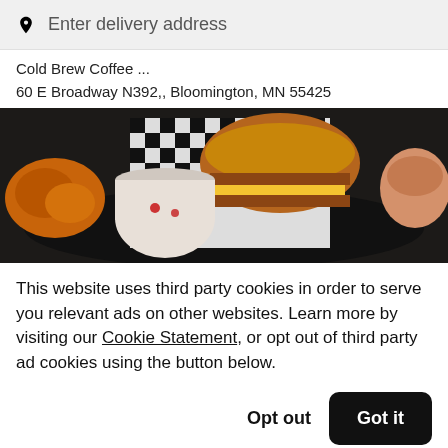Enter delivery address
Cold Brew Coffee ...
60 E Broadway N392,, Bloomington, MN 55425
[Figure (photo): Photo of food items including fried chicken, a burger wrapped in checkered paper, a milkshake or cold brew coffee, and other food items on a dark tray]
This website uses third party cookies in order to serve you relevant ads on other websites. Learn more by visiting our Cookie Statement, or opt out of third party ad cookies using the button below.
Opt out
Got it